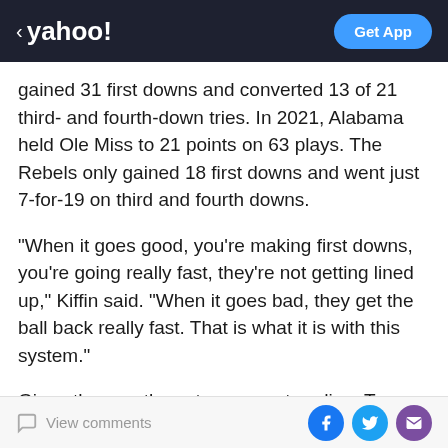< yahoo!  Get App
gained 31 first downs and converted 13 of 21 third- and fourth-down tries. In 2021, Alabama held Ole Miss to 21 points on 63 plays. The Rebels only gained 18 first downs and went just 7-for-19 on third and fourth downs.
"When it goes good, you're making first downs, you're going really fast, they're not getting lined up," Kiffin said. "When it goes bad, they get the ball back really fast. That is what it is with this system."
Given the way these teams are trending, Texas A&M has the strength-on-strength advantage. The Aggies held Missouri, South Carolina and Auburn to a combined 3.7 yards per play, allowing just 31 points. Ole Miss' banged-
View comments